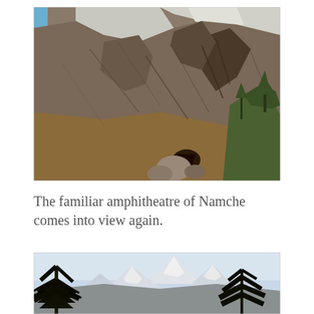[Figure (photo): Rocky mountain face with steep cliffs, snow-capped peaks, sparse trees on a hillside in the Himalayas near Namche Bazaar.]
The familiar amphitheatre of Namche comes into view again.
[Figure (photo): Snow-capped Himalayan peaks viewed through pine tree branches in the foreground, with a hazy sky.]